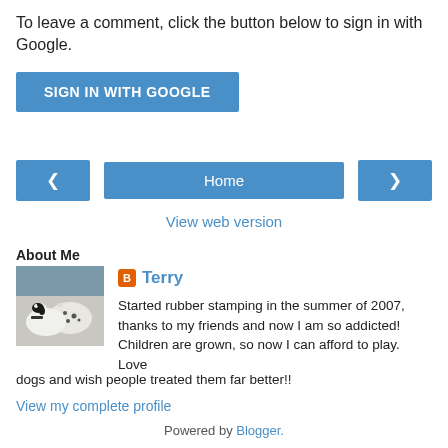To leave a comment, click the button below to sign in with Google.
[Figure (other): Blue button labeled SIGN IN WITH GOOGLE]
[Figure (other): Navigation bar with left arrow, Home button, and right arrow]
View web version
About Me
[Figure (photo): Photo of two dogs, one black and white and one dalmatian]
Terry
Started rubber stamping in the summer of 2007, thanks to my friends and now I am so addicted! Children are grown, so now I can afford to play. Love dogs and wish people treated them far better!!
View my complete profile
Powered by Blogger.